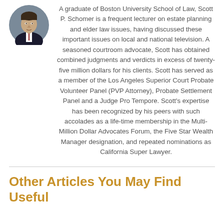[Figure (photo): Circular headshot photo of Scott P. Schomer, a man in a suit and tie]
A graduate of Boston University School of Law, Scott P. Schomer is a frequent lecturer on estate planning and elder law issues, having discussed these important issues on local and national television. A seasoned courtroom advocate, Scott has obtained combined judgments and verdicts in excess of twenty-five million dollars for his clients. Scott has served as a member of the Los Angeles Superior Court Probate Volunteer Panel (PVP Attorney), Probate Settlement Panel and a Judge Pro Tempore. Scott's expertise has been recognized by his peers with such accolades as a life-time membership in the Multi-Million Dollar Advocates Forum, the Five Star Wealth Manager designation, and repeated nominations as California Super Lawyer.
Other Articles You May Find Useful